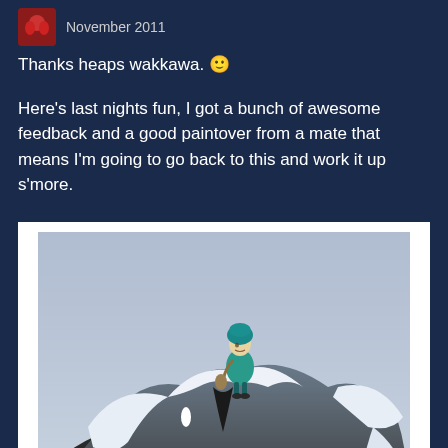November 2011
Thanks heaps wakkawa. 🙂
Here's last nights fun, I got a bunch of awesome feedback and a good paintover from a mate that means I'm going to go back to this and work it up s'more.
[Figure (illustration): Digital illustration of a small cartoon character with teal hair and teal outfit standing on top of a large dark creature or rock formation with white flowing edges, against a grey-blue sky background.]